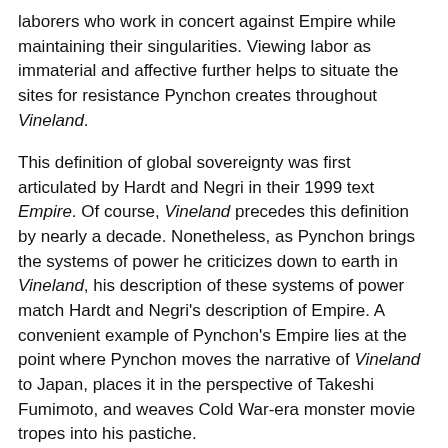laborers who work in concert against Empire while maintaining their singularities. Viewing labor as immaterial and affective further helps to situate the sites for resistance Pynchon creates throughout Vineland.
This definition of global sovereignty was first articulated by Hardt and Negri in their 1999 text Empire. Of course, Vineland precedes this definition by nearly a decade. Nonetheless, as Pynchon brings the systems of power he criticizes down to earth in Vineland, his description of these systems of power match Hardt and Negri's description of Empire. A convenient example of Pynchon's Empire lies at the point where Pynchon moves the narrative of Vineland to Japan, places it in the perspective of Takeshi Fumimoto, and weaves Cold War-era monster movie tropes into his pastiche.
Takeshi, at this point, is called to investigate the destruction of a Chipco research laboratory. Little information is given about what type of corporation Chipco is, exactly, but the size of their laboratory, their fleet of passenger helicopters, their private railway